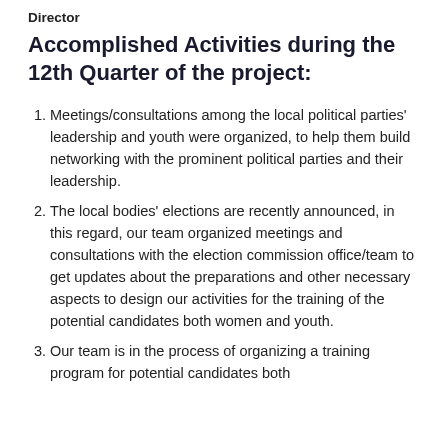Director
Accomplished Activities during the 12th Quarter of the project:
Meetings/consultations among the local political parties' leadership and youth were organized, to help them build networking with the prominent political parties and their leadership.
The local bodies' elections are recently announced, in this regard, our team organized meetings and consultations with the election commission office/team to get updates about the preparations and other necessary aspects to design our activities for the training of the potential candidates both women and youth.
Our team is in the process of organizing a training program for potential candidates both